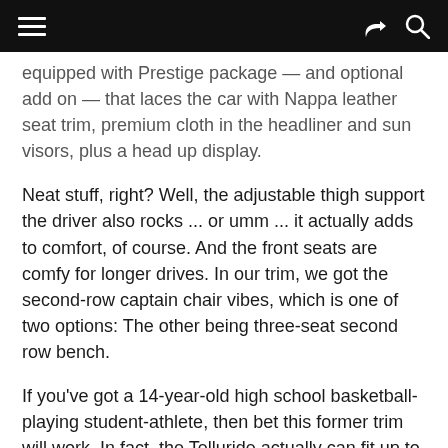[hamburger menu] [share icon] [search icon]
equipped with Prestige package — and optional add on — that laces the car with Nappa leather seat trim, premium cloth in the headliner and sun visors, plus a head up display.
Neat stuff, right? Well, the adjustable thigh support the driver also rocks ... or umm ... it actually adds to comfort, of course. And the front seats are comfy for longer drives. In our trim, we got the second-row captain chair vibes, which is one of two options: The other being three-seat second row bench.
If you've got a 14-year-old high school basketball-playing student-athlete, then bet this former trim will work. In fact, the Telluride actually can fit up to three kids and adult or two in the third row. The